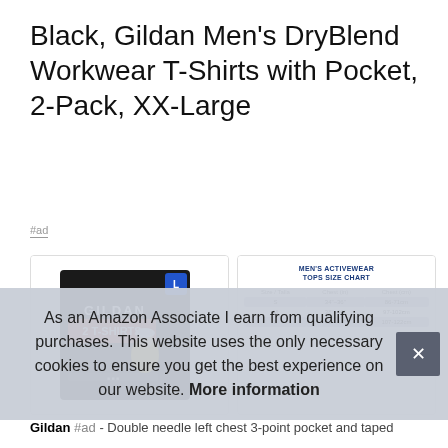Black, Gildan Men's DryBlend Workwear T-Shirts with Pocket, 2-Pack, XX-Large
#ad
[Figure (photo): Gildan 2 T-Shirts product package showing a worker in a yellow shirt wearing a hard hat, with a size L badge]
[Figure (table-as-image): Men's Activewear Tops Size Chart showing Size/Talla, Chest(in), Chest(cm) for sizes S, M, L]
As an Amazon Associate I earn from qualifying purchases. This website uses the only necessary cookies to ensure you get the best experience on our website. More information
Gildan #ad - Double needle left chest 3-point pocket and taped